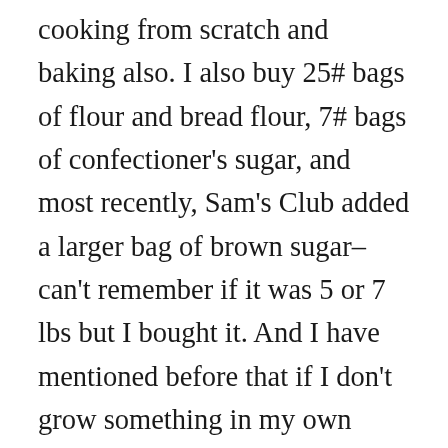cooking from scratch and baking also. I also buy 25# bags of flour and bread flour, 7# bags of confectioner's sugar, and most recently, Sam's Club added a larger bag of brown sugar–can't remember if it was 5 or 7 lbs but I bought it. And I have mentioned before that if I don't grow something in my own garden, it is sometimes cost efficient to buy a quantity during the harvest season and freeze the prepared item instead of paying more later in the winter. I can consider